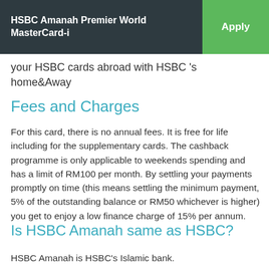HSBC Amanah Premier World MasterCard-i | Apply
your HSBC cards abroad with HSBC 's home&Away
Fees and Charges
For this card, there is no annual fees. It is free for life including for the supplementary cards. The cashback programme is only applicable to weekends spending and has a limit of RM100 per month. By settling your payments promptly on time (this means settling the minimum payment, 5% of the outstanding balance or RM50 whichever is higher) you get to enjoy a low finance charge of 15% per annum.
Is HSBC Amanah same as HSBC?
HSBC Amanah is HSBC's Islamic bank.